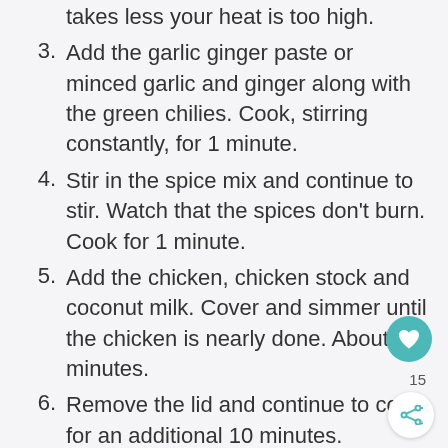takes less your heat is too high.
3. Add the garlic ginger paste or minced garlic and ginger along with the green chilies. Cook, stirring constantly, for 1 minute.
4. Stir in the spice mix and continue to stir. Watch that the spices don't burn. Cook for 1 minute.
5. Add the chicken, chicken stock and coconut milk. Cover and simmer until the chicken is nearly done. About 15 minutes.
6. Remove the lid and continue to cook for an additional 10 minutes.